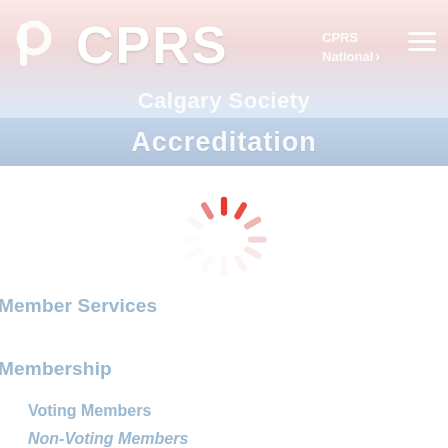[Figure (screenshot): CPRS Calgary Society website header with logo, CPRS National navigation link, hamburger menu, Calgary Society subtitle, and Accreditation page banner with loading spinner]
Accreditation
Member Services
Membership
Voting Members
Non-Voting Members
Join Now